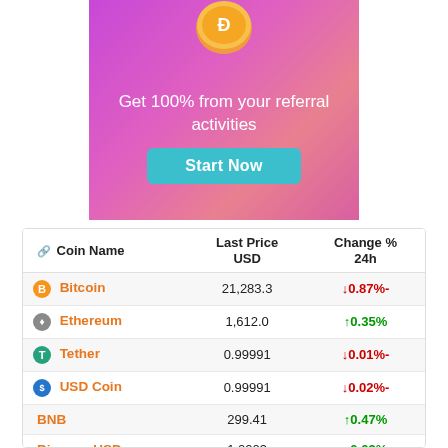[Figure (infographic): Purple-pink gradient ad banner with gold coin icon at top, white text 'Get 100% from your referral activities', and a teal 'Start Now' button.]
| Coin Name | Last Price USD | Change % 24h |
| --- | --- | --- |
| Bitcoin | 21,283.3 | ↓0.87%- |
| Ethereum | 1,612.0 | ↑0.35% |
| Tether | 0.99991 | ↓0.01%- |
| USD Coin | 0.99991 | ↓0.02%- |
| BNB | 299.41 | ↑0.47% |
| Binance USD | 1.0003 | ↑0.02% |